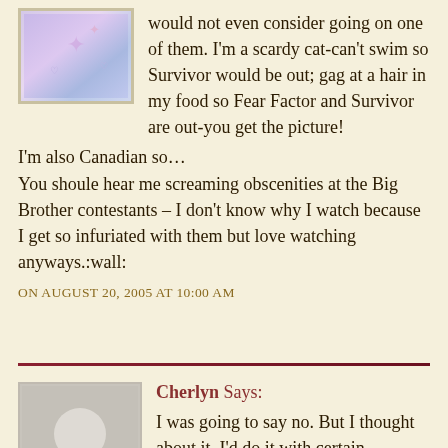would not even consider going on one of them. I'm a scardy cat-can't swim so Survivor would be out; gag at a hair in my food so Fear Factor and Survivor are out-you get the picture!
I'm also Canadian so…
You shoule hear me screaming obscenities at the Big Brother contestants – I don't know why I watch because I get so infuriated with them but love watching anyways.:wall:
ON AUGUST 20, 2005 AT 10:00 AM
Cherlyn Says:
I was going to say no. But I thought about it. I'd do it with certain restrictions, because I love challenges. I'm a pretty picky eater, so I wouldn't eat anything strange or something you couldn't find on the menu of the average American restaurant. And I wouldn't want a camera following